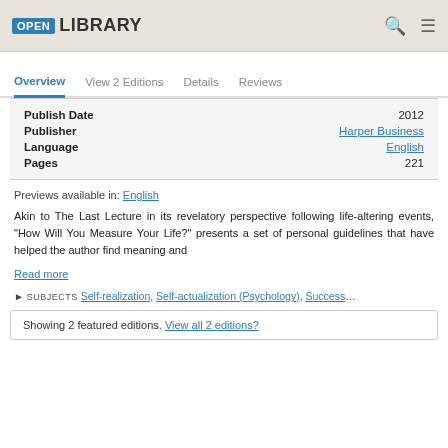OPEN LIBRARY
Overview | View 2 Editions | Details | Reviews
| Field | Value |
| --- | --- |
| Publish Date | 2012 |
| Publisher | Harper Business |
| Language | English |
| Pages | 221 |
Previews available in: English
Akin to The Last Lecture in its revelatory perspective following life-altering events, "How Will You Measure Your Life?" presents a set of personal guidelines that have helped the author find meaning and
Read more
▶ SUBJECTS Self-realization, Self-actualization (Psychology), Success…
Showing 2 featured editions. View all 2 editions?